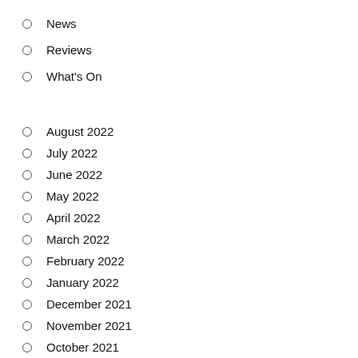News
Reviews
What's On
August 2022
July 2022
June 2022
May 2022
April 2022
March 2022
February 2022
January 2022
December 2021
November 2021
October 2021